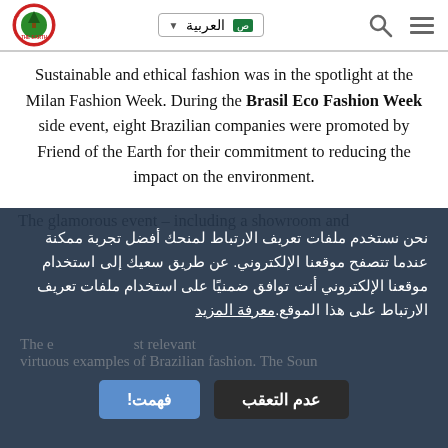Friend of the Earth — العربية navigation header
Sustainable and ethical fashion was in the spotlight at the Milan Fashion Week. During the Brasil Eco Fashion Week side event, eight Brazilian companies were promoted by Friend of the Earth for their commitment to reducing the impact on the environment.
The glamorous event – including a showroom and fashion show – allowed companies to present their products, working models, prototypes, and the most innovative materials from all over the world – the most sustainable, certified by the World Fair Trade Organization. São Paulo, the Brazilian
نحن نستخدم ملفات تعريف الارتباط لمنحك أفضل تجربة ممكنة عندما تتصفح موقعنا الإلكتروني. عن طريق سعيك إلى استخدام موقعنا الإلكتروني أنت توافق ضمنيًا على استخدام ملفات تعريف الارتباط على هذا الموقع. معرفة المزيد
The e st relevant virtuous examples of Brazilian fashion. The Soun